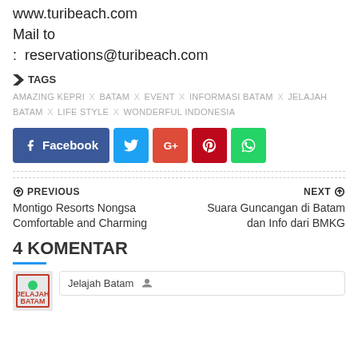www.turibeach.com
Mail to
:  reservations@turibeach.com
TAGS
AMAZING KEPRI X BATAM X EVENT X INFORMASI BATAM X JELAJAH BATAM X LIFE STYLE X WONDERFUL INDONESIA
[Figure (other): Social share buttons: Facebook, Twitter, Google+, Pinterest, WhatsApp]
PREVIOUS
Montigo Resorts Nongsa Comfortable and Charming
NEXT
Suara Guncangan di Batam dan Info dari BMKG
4 KOMENTAR
Jelajah Batam